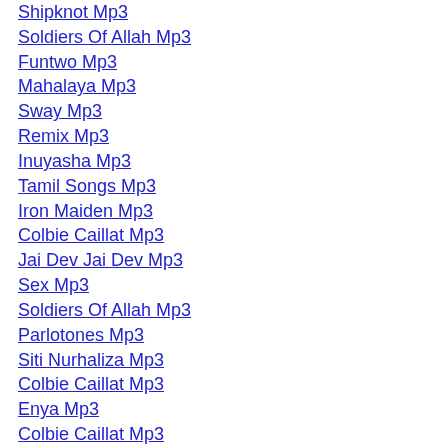Shipknot Mp3
Soldiers Of Allah Mp3
Funtwo Mp3
Mahalaya Mp3
Sway Mp3
Remix Mp3
Inuyasha Mp3
Tamil Songs Mp3
Iron Maiden Mp3
Colbie Caillat Mp3
Jai Dev Jai Dev Mp3
Sex Mp3
Soldiers Of Allah Mp3
Parlotones Mp3
Siti Nurhaliza Mp3
Colbie Caillat Mp3
Enya Mp3
Colbie Caillat Mp3
Ya Taiba Mp3
Marathi Mp3
Colbie Caillat Mp3
Takbir Mp3
Sivaji Mp3
Anup Jalota Mp3
Chemical Brothers Mp3
Rise Up Mp3